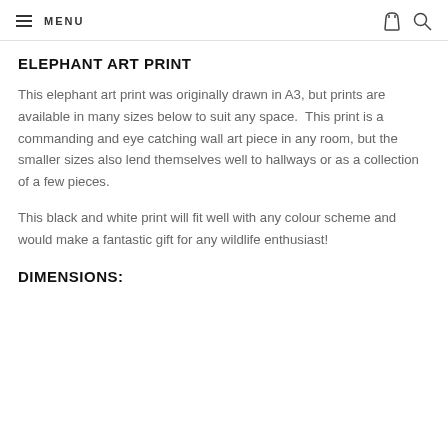MENU
ELEPHANT ART PRINT
This elephant art print was originally drawn in A3, but prints are available in many sizes below to suit any space. This print is a commanding and eye catching wall art piece in any room, but the smaller sizes also lend themselves well to hallways or as a collection of a few pieces.
This black and white print will fit well with any colour scheme and would make a fantastic gift for any wildlife enthusiast!
DIMENSIONS: